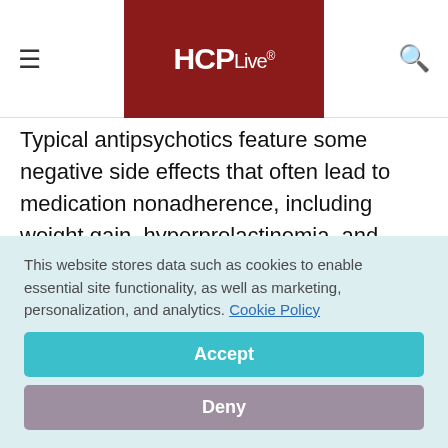HCPLive®
Typical antipsychotics feature some negative side effects that often lead to medication nonadherence, including weight gain, hyperprolactinemia, and increasing the risk of diabetes, cardiovascular disease, and tardive dyskinesia.
This website stores data such as cookies to enable essential site functionality, as well as marketing, personalization, and analytics. Cookie Policy
Accept
Deny